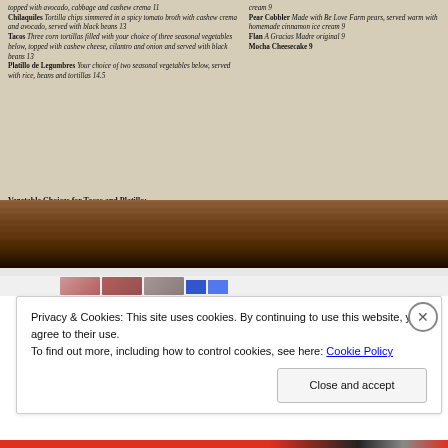[Figure (photo): Photograph of a restaurant menu (Be Love Farm / Gracias Madre) showing menu items including Chilaquiles, Tacos, Platillo de Legumbres, vegetable choices, and desserts including Pear Cobbler, Flan, Mocha Cheesecake. The menu is resting on a wooden shelf.]
Privacy & Cookies: This site uses cookies. By continuing to use this website, you agree to their use.
To find out more, including how to control cookies, see here: Cookie Policy
Close and accept